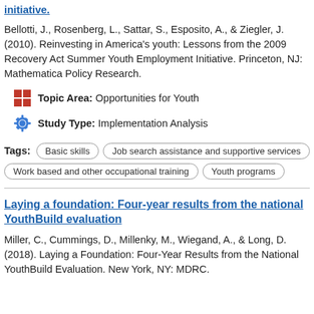initiative.
Bellotti, J., Rosenberg, L., Sattar, S., Esposito, A., & Ziegler, J. (2010). Reinvesting in America's youth: Lessons from the 2009 Recovery Act Summer Youth Employment Initiative. Princeton, NJ: Mathematica Policy Research.
Topic Area: Opportunities for Youth
Study Type: Implementation Analysis
Tags: Basic skills | Job search assistance and supportive services | Work based and other occupational training | Youth programs
Laying a foundation: Four-year results from the national YouthBuild evaluation
Miller, C., Cummings, D., Millenky, M., Wiegand, A., & Long, D. (2018). Laying a Foundation: Four-Year Results from the National YouthBuild Evaluation. New York, NY: MDRC.